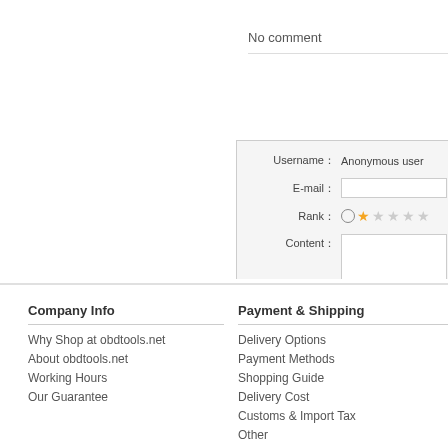No comment
| Label | Value |
| --- | --- |
| Username： | Anonymous user |
| E-mail： |  |
| Rank： | ○ ★ ★ ★ ★ ★ |
| Content： |  |
| Verification code： |  |
Company Info
Why Shop at obdtools.net
About obdtools.net
Working Hours
Our Guarantee
Payment & Shipping
Delivery Options
Payment Methods
Shopping Guide
Delivery Cost
Customs & Import Tax
Other